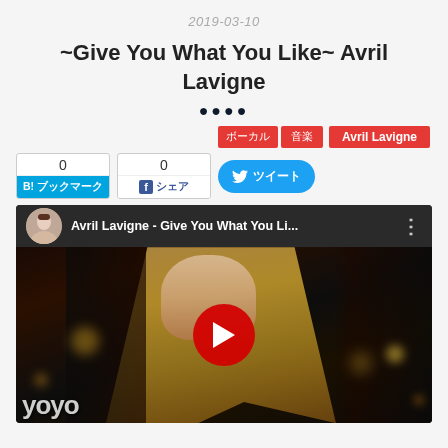2019-03-10
~Give You What You Like~ Avril Lavigne
●●●●
ボーカル 音楽 | Avril Lavigne
0 B!ブックマーク | 0 シェア | ツイート
[Figure (screenshot): YouTube video embed showing Avril Lavigne - Give You What You Li... with a thumbnail of a blonde woman and a red play button. The bottom shows 'yoyo' text logo.]